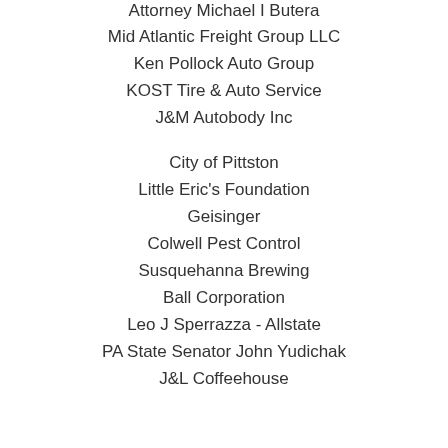Attorney Michael I Butera
Mid Atlantic Freight Group LLC
Ken Pollock Auto Group
KOST Tire & Auto Service
J&M Autobody Inc
City of Pittston
Little Eric's Foundation
Geisinger
Colwell Pest Control
Susquehanna Brewing
Ball Corporation
Leo J Sperrazza - Allstate
PA State Senator John Yudichak
J&L Coffeehouse